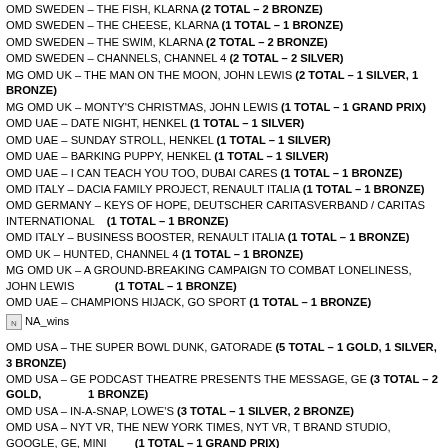OMD SWEDEN – THE FISH, KLARNA (2 TOTAL – 2 BRONZE)
OMD SWEDEN – THE CHEESE, KLARNA (1 TOTAL – 1 BRONZE)
OMD SWEDEN – THE SWIM, KLARNA (2 TOTAL – 2 BRONZE)
OMD SWEDEN – CHANNELS, CHANNEL 4 (2 TOTAL – 2 SILVER)
MG OMD UK – THE MAN ON THE MOON, JOHN LEWIS (2 TOTAL – 1 SILVER, 1 BRONZE)
MG OMD UK – MONTY'S CHRISTMAS, JOHN LEWIS (1 TOTAL – 1 GRAND PRIX)
OMD UAE – DATE NIGHT, HENKEL (1 TOTAL – 1 SILVER)
OMD UAE – SUNDAY STROLL, HENKEL (1 TOTAL – 1 SILVER)
OMD UAE – BARKING PUPPY, HENKEL (1 TOTAL – 1 SILVER)
OMD UAE – I CAN TEACH YOU TOO, DUBAI CARES (1 TOTAL – 1 BRONZE)
OMD ITALY – DACIA FAMILY PROJECT, RENAULT ITALIA (1 TOTAL – 1 BRONZE)
OMD GERMANY – KEYS OF HOPE, DEUTSCHER CARITASVERBAND / CARITAS INTERNATIONAL (1 TOTAL – 1 BRONZE)
OMD ITALY – BUSINESS BOOSTER, RENAULT ITALIA (1 TOTAL – 1 BRONZE)
OMD UK – HUNTED, CHANNEL 4 (1 TOTAL – 1 BRONZE)
MG OMD UK – A GROUND-BREAKING CAMPAIGN TO COMBAT LONELINESS, JOHN LEWIS (1 TOTAL – 1 BRONZE)
OMD UAE – CHAMPIONS HIJACK, GO SPORT (1 TOTAL – 1 BRONZE)
[Figure (other): NA_wins icon/image]
OMD USA – THE SUPER BOWL DUNK, GATORADE (5 TOTAL – 1 GOLD, 1 SILVER, 3 BRONZE)
OMD USA – GE PODCAST THEATRE PRESENTS THE MESSAGE, GE (3 TOTAL – 2 GOLD, 1 BRONZE)
OMD USA – IN-A-SNAP, LOWE'S (3 TOTAL – 1 SILVER, 2 BRONZE)
OMD USA – NYT VR, THE NEW YORK TIMES, NYT VR, T BRAND STUDIO, GOOGLE, GE, MINI (1 TOTAL – 1 GRAND PRIX)
OMD USA – THE LADY GAGA + INTEL PERFORMANCE, INTEL (1 TOTAL –